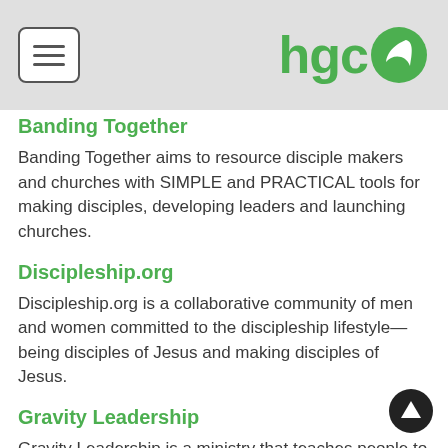hgco
Banding Together
Banding Together aims to resource disciple makers and churches with SIMPLE and PRACTICAL tools for making disciples, developing leaders and launching churches.
Discipleship.org
Discipleship.org is a collaborative community of men and women committed to the discipleship lifestyle—being disciples of Jesus and making disciples of Jesus.
Gravity Leadership
Gravity Leadership is a ministry that teaches people to lead like Jesus, live on mission, and make disciples.